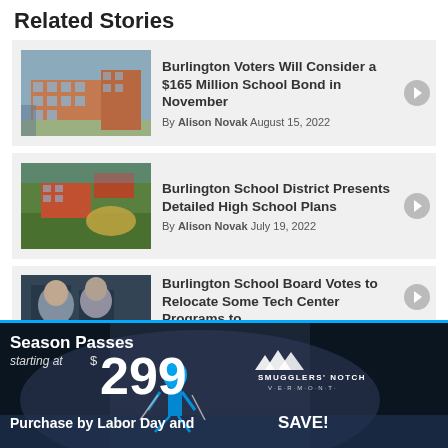Related Stories
[Figure (photo): Rendering of a school building exterior]
Burlington Voters Will Consider a $165 Million School Bond in November
By Alison Novak August 15, 2022
[Figure (photo): Aerial view of a school campus with athletic fields]
Burlington School District Presents Detailed High School Plans
By Alison Novak July 19, 2022
[Figure (photo): Students working at a tech center]
Burlington School Board Votes to Relocate Some Tech Center Programs to
[Figure (photo): Smugglers' Notch advertisement - Season Passes starting at $299. Purchase by Labor Day and SAVE!]